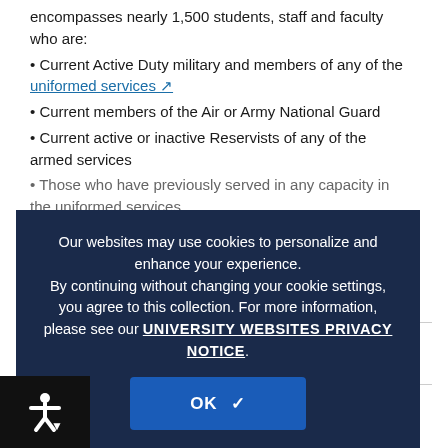encompasses nearly 1,500 students, staff and faculty who are:
Current Active Duty military and members of any of the uniformed services
Current members of the Air or Army National Guard
Current active or inactive Reservists of any of the armed services
Those who have previously served in any capacity in the uniformed services
Spouses, children, and other dependents of any current or prior...
Our websites may use cookies to personalize and enhance your experience. By continuing without changing your cookie settings, you agree to this collection. For more information, please see our UNIVERSITY WEBSITES PRIVACY NOTICE.
Using Be...
Each semester you are a student at the University of Connecticut and are planning on using your benefits, you need to submit your Form D to UConn's Office of Veterans Affairs & Military Programs. If you are using Benefits like the VA, the Connecticut Tuition Waiver, or the National Guard Tuition Waiver, you need to submit your Form D. We recommend you submit the Form D immediately after